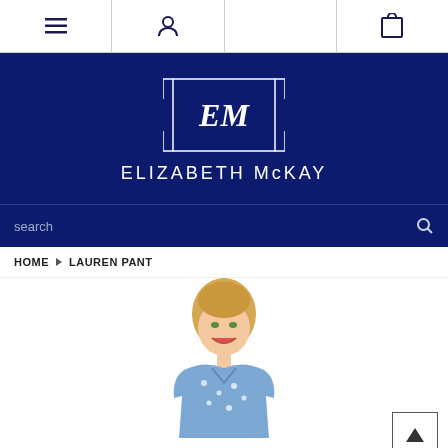[Figure (screenshot): Navigation bar with hamburger menu icon, person/account icon, and shopping bag icon on white background]
[Figure (logo): Elizabeth McKay brand logo: ornate monogram EM inside a rectangular frame, with text ELIZABETH McKAY below, on dark navy background]
search
HOME ▶ LAUREN PANT
[Figure (photo): Blonde woman smiling, wearing a blue and white patterned blouse, product photo on white background]